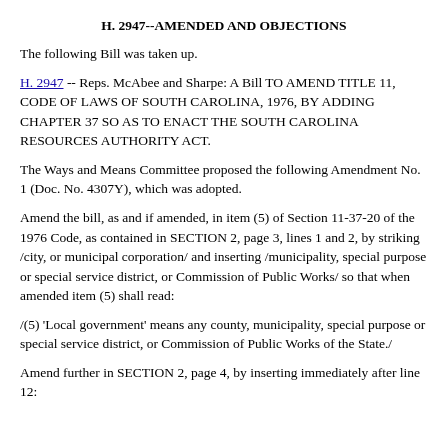H. 2947--AMENDED AND OBJECTIONS
The following Bill was taken up.
H. 2947 -- Reps. McAbee and Sharpe: A Bill TO AMEND TITLE 11, CODE OF LAWS OF SOUTH CAROLINA, 1976, BY ADDING CHAPTER 37 SO AS TO ENACT THE SOUTH CAROLINA RESOURCES AUTHORITY ACT.
The Ways and Means Committee proposed the following Amendment No. 1 (Doc. No. 4307Y), which was adopted.
Amend the bill, as and if amended, in item (5) of Section 11-37-20 of the 1976 Code, as contained in SECTION 2, page 3, lines 1 and 2, by striking /city, or municipal corporation/ and inserting /municipality, special purpose or special service district, or Commission of Public Works/ so that when amended item (5) shall read:
/(5) 'Local government' means any county, municipality, special purpose or special service district, or Commission of Public Works of the State./
Amend further in SECTION 2, page 4, by inserting immediately after line 12: